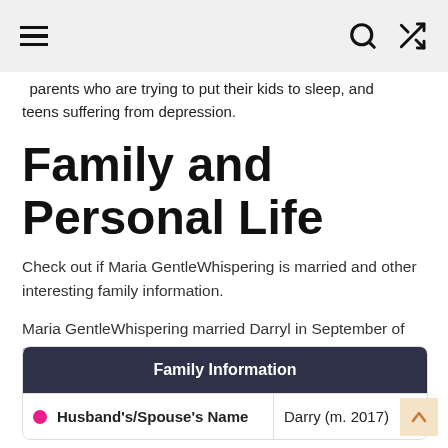≡  🔍  ⇌
parents who are trying to put their kids to sleep, and teens suffering from depression.
Family and Personal Life
Check out if Maria GentleWhispering is married and other interesting family information.
Maria GentleWhispering married Darryl in September of 2017, who she has been dating since 2012. Together, they have a daughter, Mila (b. 2019).
| Family Information |
| --- |
| Husband's/Spouse's Name | Darry (m. 2017) |